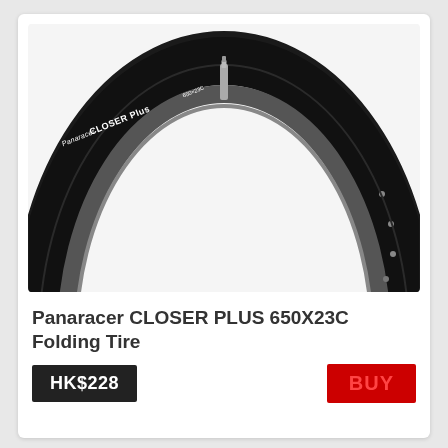[Figure (photo): A Panaracer CLOSER PLUS 650X23C folding bicycle tire shown mounted on a rim, photographed from the top against a white background. The black tire with white logo text arches upward with a metal valve stem visible at the center top.]
Panaracer CLOSER PLUS 650X23C Folding Tire
HK$228
BUY